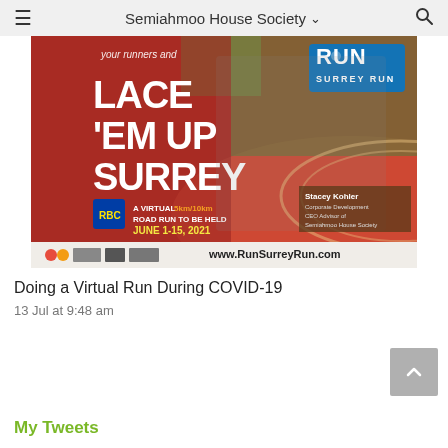≡   Semiahmoo House Society ∨ 🔍
[Figure (photo): Promotional banner for Run Surrey Run event. A woman in a grey hoodie runs on a red track. Text reads: 'your runners and LACE EM UP SURREY - A VIRTUAL 5km/10km ROAD RUN TO BE HELD JUNE 1-15, 2021'. RBC logo and Run Surrey Run logo visible. Bottom text: www.RunSurreyRun.com. Person labeled Stacey Kohler, Corporate Development and CEO Advisor of Semiahmoo House Society.]
Doing a Virtual Run During COVID-19
13 Jul at 9:48 am
My Tweets